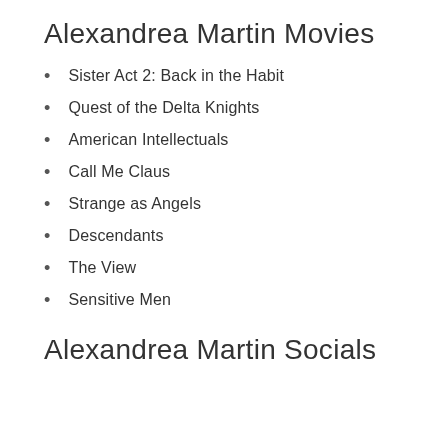Alexandrea Martin Movies
Sister Act 2: Back in the Habit
Quest of the Delta Knights
American Intellectuals
Call Me Claus
Strange as Angels
Descendants
The View
Sensitive Men
Alexandrea Martin Socials